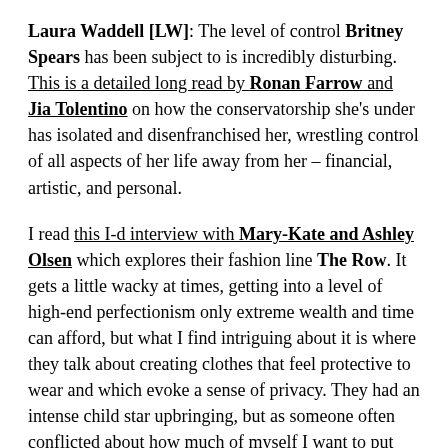Laura Waddell [LW]: The level of control Britney Spears has been subject to is incredibly disturbing. This is a detailed long read by Ronan Farrow and Jia Tolentino on how the conservatorship she's under has isolated and disenfranchised her, wrestling control of all aspects of her life away from her – financial, artistic, and personal.
I read this I-d interview with Mary-Kate and Ashley Olsen which explores their fashion line The Row. It gets a little wacky at times, getting into a level of high-end perfectionism only extreme wealth and time can afford, but what I find intriguing about it is where they talk about creating clothes that feel protective to wear and which evoke a sense of privacy. They had an intense child star upbringing, but as someone often conflicted about how much of myself I want to put out